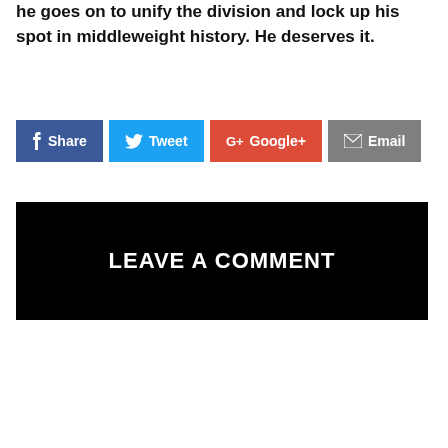he goes on to unify the division and lock up his spot in middleweight history. He deserves it.
[Figure (screenshot): Social share buttons: Share (Facebook, blue), Tweet (Twitter, light blue), Google+ (red), Email (gray)]
LEAVE A COMMENT